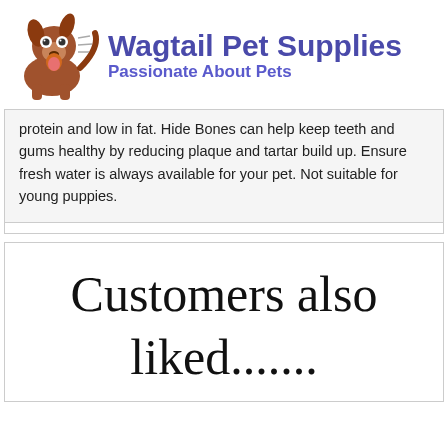[Figure (logo): Wagtail Pet Supplies logo with cartoon brown dog and brand name and tagline]
protein and low in fat. Hide Bones can help keep teeth and gums healthy by reducing plaque and tartar build up. Ensure fresh water is always available for your pet. Not suitable for young puppies.
Customers also liked.......